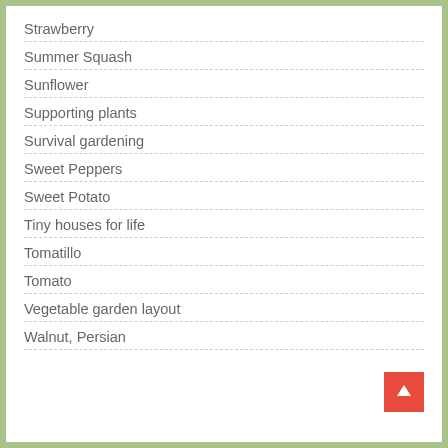Strawberry
Summer Squash
Sunflower
Supporting plants
Survival gardening
Sweet Peppers
Sweet Potato
Tiny houses for life
Tomatillo
Tomato
Vegetable garden layout
Walnut, Persian